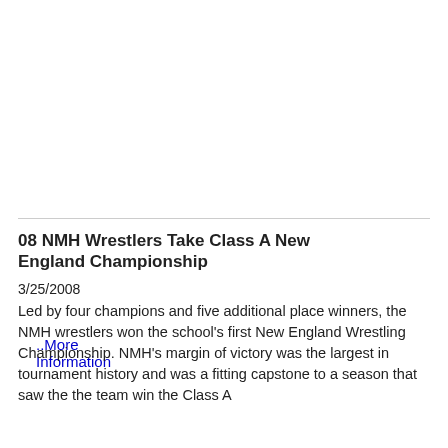..More Information
08 NMH Wrestlers Take Class A New England Championship
3/25/2008
Led by four champions and five additional place winners, the NMH wrestlers won the school's first New England Wrestling Championship. NMH's margin of victory was the largest in tournament history and was a fitting capstone to a season that saw the the team win the Class A
[Figure (logo): Northfield Mount Hermon school seal/logo — circular badge with dark blue border, red background, gold trophy/urn at center, text reading NORTHFIELD MOUNT HERMON around the edge]